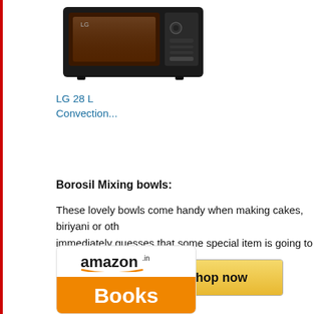[Figure (photo): LG black microwave/convection oven product image]
LG 28 L Convection...
[Figure (other): Amazon Shop now button with Amazon logo on dark background and gold gradient]
Borosil Mixing bowls:
These lovely bowls come handy when making cakes, biriyani or oth immediately guesses that some special item is going to be on the m serving.
[Figure (logo): Amazon.in Books logo - white top with amazon.in text and orange bottom with Books text]